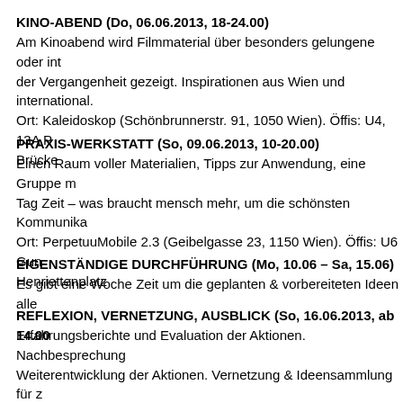KINO-ABEND (Do, 06.06.2013, 18-24.00)
Am Kinoabend wird Filmmaterial über besonders gelungene oder inte der Vergangenheit gezeigt. Inspirationen aus Wien und international. Ort: Kaleidoskop (Schönbrunnerstr. 91, 1050 Wien). Öffis: U4, 13A P Brücke
PRAXIS-WERKSTATT (So, 09.06.2013, 10-20.00)
Einen Raum voller Materialien, Tipps zur Anwendung, eine Gruppe m Tag Zeit – was braucht mensch mehr, um die schönsten Kommunika Ort: PerpetuuMobile 2.3 (Geibelgasse 23, 1150 Wien). Öffis: U6 Gun Henriettenplatz
EIGENSTÄNDIGE DURCHFÜHRUNG (Mo, 10.06 – Sa, 15.06)
Es gibt eine Woche Zeit um die geplanten & vorbereiteten Ideen alle
REFLEXION, VERNETZUNG, AUSBLICK (So, 16.06.2013, ab 14.00
Erfahrungsberichte und Evaluation der Aktionen. Nachbesprechung Weiterentwicklung der Aktionen. Vernetzung & Ideensammlung für z Ort: bekommt ihr mitgeteilt, wenn ihr an den Praxis Treffen mitmacht